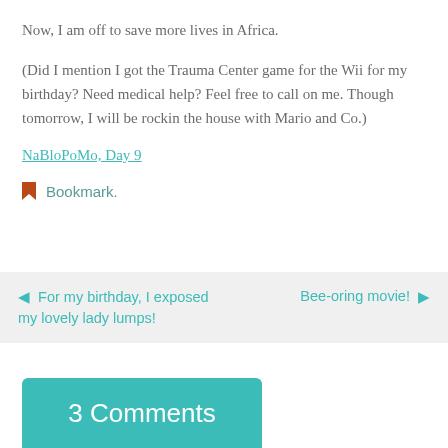Now, I am off to save more lives in Africa.
(Did I mention I got the Trauma Center game for the Wii for my birthday? Need medical help? Feel free to call on me. Though tomorrow, I will be rockin the house with Mario and Co.)
NaBloPoMo, Day 9
Bookmark.
◄ For my birthday, I exposed my lovely lady lumps!
Bee-oring movie! ►
3 Comments